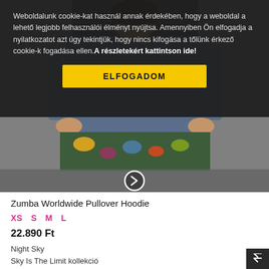Weboldalunk cookie-kat használ annak érdekében, hogy a weboldal a lehető legjobb felhasználói élményt nyújtsa. Amennyiben Ön elfogadja a nyilatkozatot azt úgy tekintjük, hogy nincs kifogása a tőlünk érkező cookie-k fogadása ellen.A részletekért kattintson ide!
ELFOGADOM
[Figure (photo): Woman wearing a blue/navy pullover hoodie and floral pants, product photo with navigation arrow overlay bar]
Zumba Worldwide Pullover Hoodie
XS  S  M  L
22.890 Ft
Night Sky
Sky Is The Limit kollekció
(0 reviews)